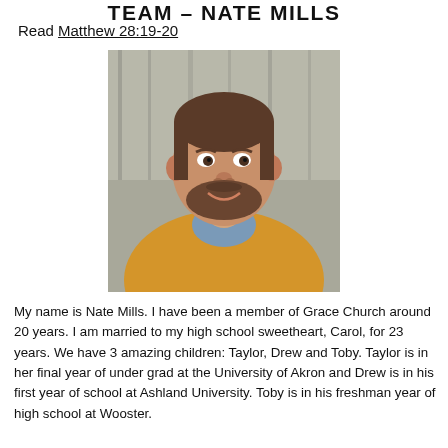TEAM - NATE MILLS
Read Matthew 28:19-20
[Figure (photo): Portrait photo of Nate Mills, a middle-aged man with short brown hair and a beard, wearing a yellow sweater over a blue collared shirt, smiling, with a blurred wooden background.]
My name is Nate Mills.  I have been a member of Grace Church around 20 years.  I am married to my high school sweetheart, Carol, for 23 years.  We have 3 amazing children: Taylor, Drew and Toby.  Taylor is in her final year of under grad at the University of Akron and Drew is in his first year of school at Ashland University.  Toby is in his freshman year of high school at Wooster.